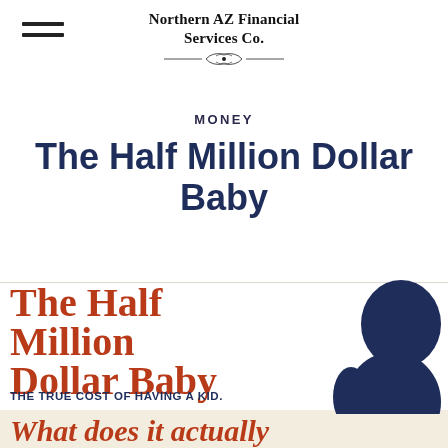Northern AZ Financial Services Co.
MONEY
The Half Million Dollar Baby
[Figure (infographic): Infographic titled 'The Half Million Dollar Baby — THE TRUE COST OF HAVING A KID.' with large red-orange bold text and a dark navy blue silhouette of a baby on the right side. Bottom section has a cream/beige background with the partial text 'What does it actually'.]
What does it actually